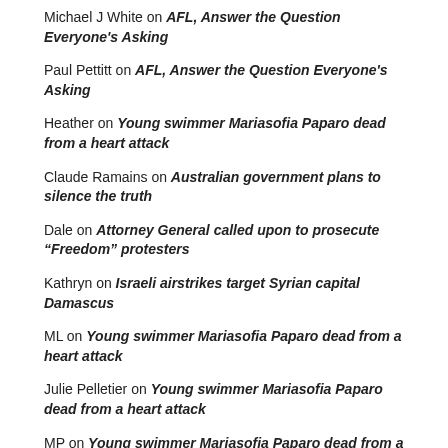Michael J White on AFL, Answer the Question Everyone's Asking
Paul Pettitt on AFL, Answer the Question Everyone's Asking
Heather on Young swimmer Mariasofia Paparo dead from a heart attack
Claude Ramains on Australian government plans to silence the truth
Dale on Attorney General called upon to prosecute “Freedom” protesters
Kathryn on Israeli airstrikes target Syrian capital Damascus
ML on Young swimmer Mariasofia Paparo dead from a heart attack
Julie Pelletier on Young swimmer Mariasofia Paparo dead from a heart attack
MP on Young swimmer Mariasofia Paparo dead from a heart attack